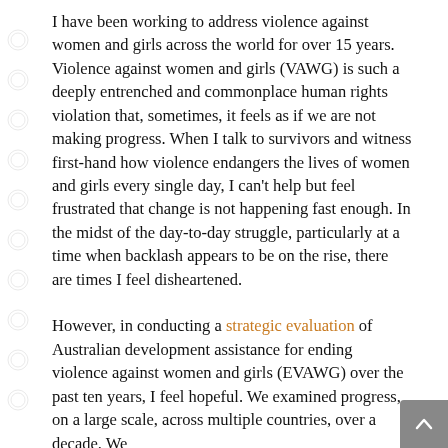I have been working to address violence against women and girls across the world for over 15 years. Violence against women and girls (VAWG) is such a deeply entrenched and commonplace human rights violation that, sometimes, it feels as if we are not making progress. When I talk to survivors and witness first-hand how violence endangers the lives of women and girls every single day, I can't help but feel frustrated that change is not happening fast enough. In the midst of the day-to-day struggle, particularly at a time when backlash appears to be on the rise, there are times I feel disheartened.

However, in conducting a strategic evaluation of Australian development assistance for ending violence against women and girls (EVAWG) over the past ten years, I feel hopeful. We examined progress, on a large scale, across multiple countries, over a decade. We